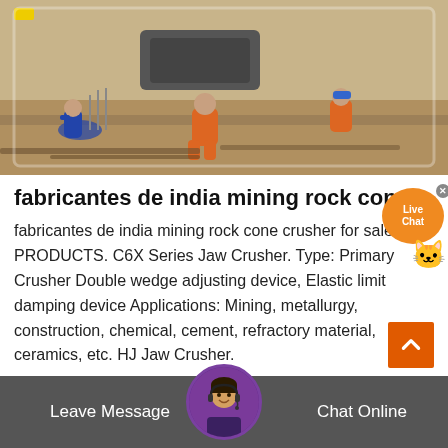[Figure (photo): Workers in orange jumpsuits working at a mining/construction site with heavy equipment and rocky ground]
fabricantes de india mining rock cone
fabricantes de india mining rock cone crusher for sale. PRODUCTS. C6X Series Jaw Crusher. Type: Primary Crusher Double wedge adjusting device, Elastic limit damping device Applications: Mining, metallurgy, construction, chemical, cement, refractory material, ceramics, etc. HJ Jaw Crusher.
Read More
Leave Message
Chat Online